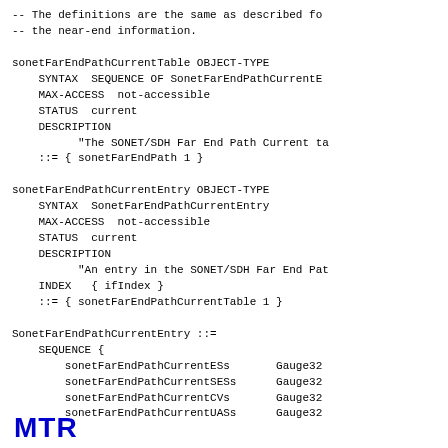-- The definitions are the same as described fo
-- the near-end information.

sonetFarEndPathCurrentTable OBJECT-TYPE
    SYNTAX  SEQUENCE OF SonetFarEndPathCurrentE
    MAX-ACCESS  not-accessible
    STATUS  current
    DESCRIPTION
          "The SONET/SDH Far End Path Current ta
    ::= { sonetFarEndPath 1 }

sonetFarEndPathCurrentEntry OBJECT-TYPE
    SYNTAX  SonetFarEndPathCurrentEntry
    MAX-ACCESS  not-accessible
    STATUS  current
    DESCRIPTION
          "An entry in the SONET/SDH Far End Pat
    INDEX   { ifIndex }
    ::= { sonetFarEndPathCurrentTable 1 }

SonetFarEndPathCurrentEntry ::=
    SEQUENCE {
        sonetFarEndPathCurrentESs       Gauge32
        sonetFarEndPathCurrentSESs      Gauge32
        sonetFarEndPathCurrentCVs       Gauge32
        sonetFarEndPathCurrentUASs      Gauge32
[Figure (logo): MTR logo in bold blue text at bottom left]